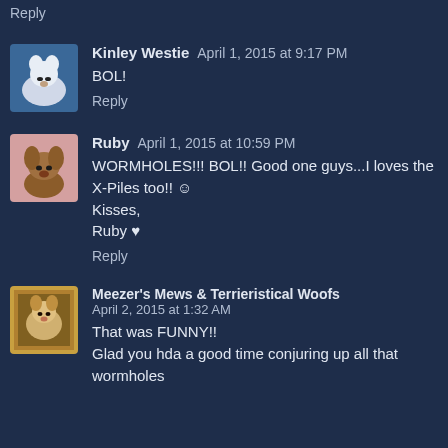Reply
Kinley Westie April 1, 2015 at 9:17 PM
BOL!
Reply
Ruby April 1, 2015 at 10:59 PM
WORMHOLES!!! BOL!! Good one guys...I loves the X-Piles too!! ☺
Kisses,
Ruby ♥
Reply
Meezer's Mews & Terrieristical Woofs April 2, 2015 at 1:32 AM
That was FUNNY!!
Glad you hda a good time conjuring up all that wormholes